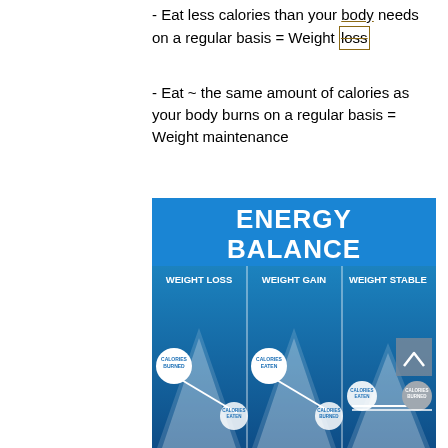- Eat less calories than your body needs on a regular basis = Weight loss
- Eat ~ the same amount of calories as your body burns on a regular basis = Weight maintenance
[Figure (infographic): Energy Balance infographic showing three columns: Weight Loss (calories burned > calories eaten, scale tips to burned side), Weight Gain (calories eaten > calories burned, scale tips to eaten side), Weight Stable (calories eaten = calories burned, scale is balanced). Blue gradient background with white mountain/scale imagery and circular labels.]